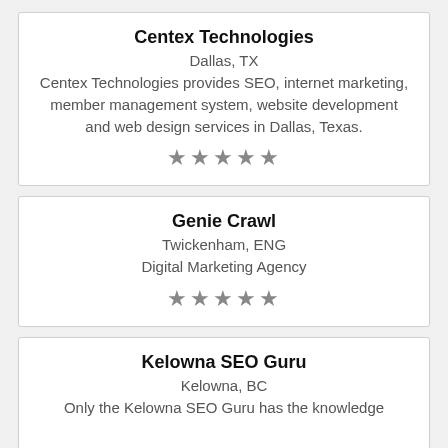Centex Technologies
Dallas, TX
Centex Technologies provides SEO, internet marketing, member management system, website development and web design services in Dallas, Texas.
[Figure (other): Five grey stars rating]
Genie Crawl
Twickenham, ENG
Digital Marketing Agency
[Figure (other): Five grey stars rating]
Kelowna SEO Guru
Kelowna, BC
Only the Kelowna SEO Guru has the knowledge